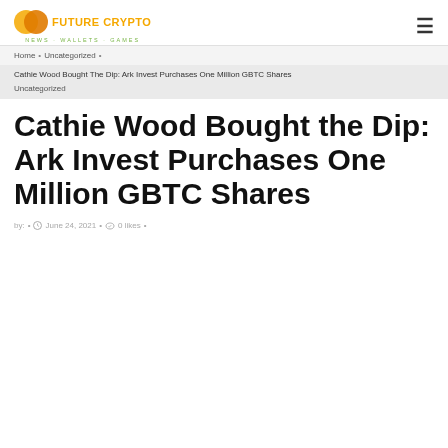[Figure (logo): Future Crypto logo with two overlapping circles (gold and orange) and text FUTURE CRYPTO in gold, tagline NEWS · WALLETS · GAMES in green]
Home • Uncategorized •
Cathie Wood Bought The Dip: Ark Invest Purchases One Million GBTC Shares
Uncategorized
Cathie Wood Bought the Dip: Ark Invest Purchases One Million GBTC Shares
by: • June 24, 2021 • 0 likes •